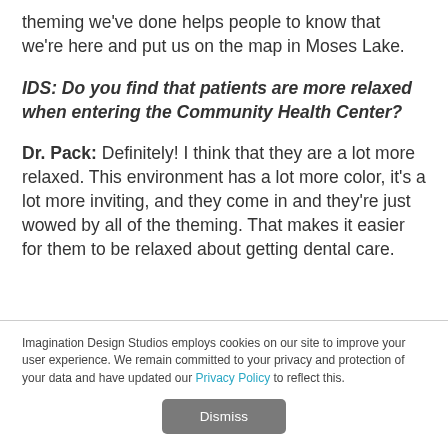theming we've done helps people to know that we're here and put us on the map in Moses Lake.
IDS: Do you find that patients are more relaxed when entering the Community Health Center?
Dr. Pack: Definitely! I think that they are a lot more relaxed. This environment has a lot more color, it's a lot more inviting, and they come in and they're just wowed by all of the theming. That makes it easier for them to be relaxed about getting dental care.
Imagination Design Studios employs cookies on our site to improve your user experience. We remain committed to your privacy and protection of your data and have updated our Privacy Policy to reflect this.